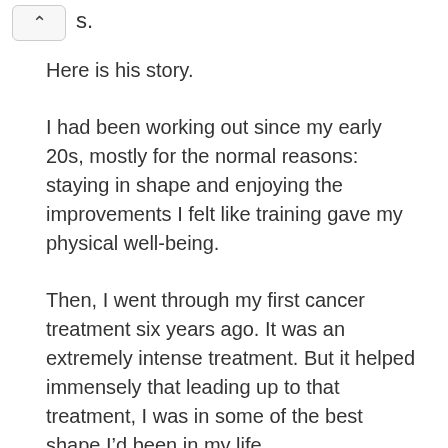s.
Here is his story.
I had been working out since my early 20s, mostly for the normal reasons: staying in shape and enjoying the improvements I felt like training gave my physical well-being.
Then, I went through my first cancer treatment six years ago. It was an extremely intense treatment. But it helped immensely that leading up to that treatment, I was in some of the best shape I’d been in my life.